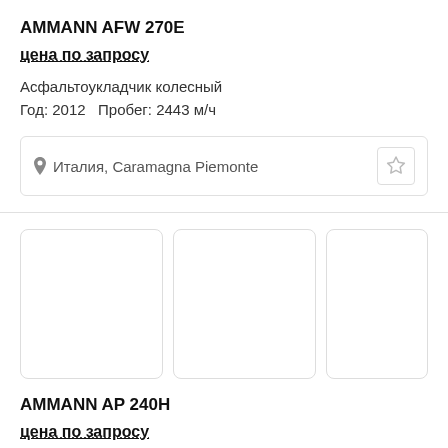AMMANN AFW 270E
цена по запросу
Асфальтоукладчик колесный
Год: 2012   Пробег: 2443 м/ч
Италия, Caramagna Piemonte
[Figure (photo): Three empty image placeholder boxes arranged in a row]
AMMANN AP 240H
цена по запросу
Пневмоколесный каток